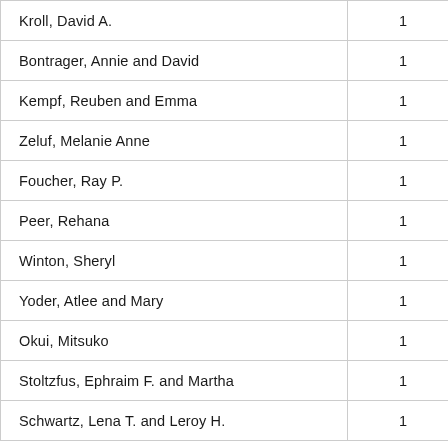| Name | Count |
| --- | --- |
| Kroll, David A. | 1 |
| Bontrager, Annie and David | 1 |
| Kempf, Reuben and Emma | 1 |
| Zeluf, Melanie Anne | 1 |
| Foucher, Ray P. | 1 |
| Peer, Rehana | 1 |
| Winton, Sheryl | 1 |
| Yoder, Atlee and Mary | 1 |
| Okui, Mitsuko | 1 |
| Stoltzfus, Ephraim F. and Martha | 1 |
| Schwartz, Lena T. and Leroy H. | 1 |